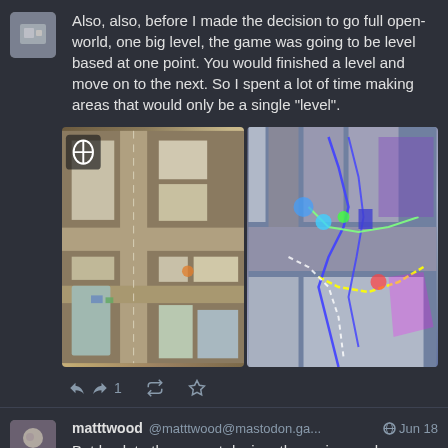[Figure (screenshot): User avatar - small profile picture thumbnail]
Also, also, before I made the decision to go full open-world, one big level, the game was going to be level based at one point. You would finished a level and move on to the next. So I spent a lot of time making areas that would only be a single "level".
[Figure (screenshot): Two side-by-side game map screenshots showing top-down view of game level areas]
[Figure (photo): User avatar - matttwood profile photo]
matttwood @matttwood@mastodon.ga... Jun 18  But back to the current design, the main map has gone though maybe 3 or 4 MAJOR changes and